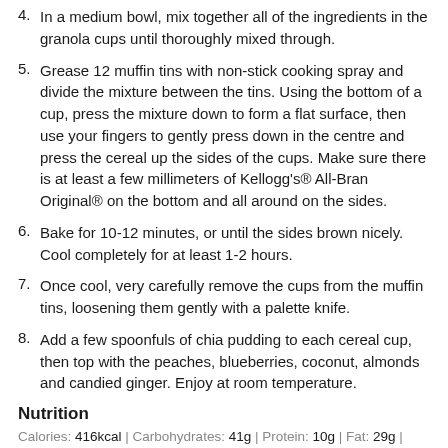4. In a medium bowl, mix together all of the ingredients in the granola cups until thoroughly mixed through.
5. Grease 12 muffin tins with non-stick cooking spray and divide the mixture between the tins. Using the bottom of a cup, press the mixture down to form a flat surface, then use your fingers to gently press down in the centre and press the cereal up the sides of the cups. Make sure there is at least a few millimeters of Kellogg's® All-Bran Original® on the bottom and all around on the sides.
6. Bake for 10-12 minutes, or until the sides brown nicely. Cool completely for at least 1-2 hours.
7. Once cool, very carefully remove the cups from the muffin tins, loosening them gently with a palette knife.
8. Add a few spoonfuls of chia pudding to each cereal cup, then top with the peaches, blueberries, coconut, almonds and candied ginger. Enjoy at room temperature.
Nutrition
Calories: 416kcal | Carbohydrates: 41g | Protein: 10g | Fat: 29g | Saturated Fat: 13g | Polyunsaturated Fat: 5g | Monounsaturated Fat: ...